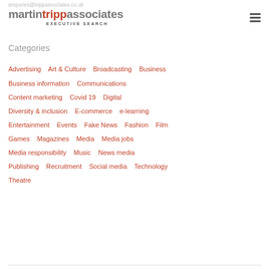enquiries@trippassociates.co.uk martin tripp associates EXECUTIVE SEARCH
Categories
Advertising
Art & Culture
Broadcasting
Business
Business information
Communications
Content marketing
Covid 19
Digital
Diversity & inclusion
E-commerce
e-learning
Entertainment
Events
Fake News
Fashion
Film
Games
Magazines
Media
Media jobs
Media responsibility
Music
News media
Publishing
Recruitment
Social media
Technology
Theatre